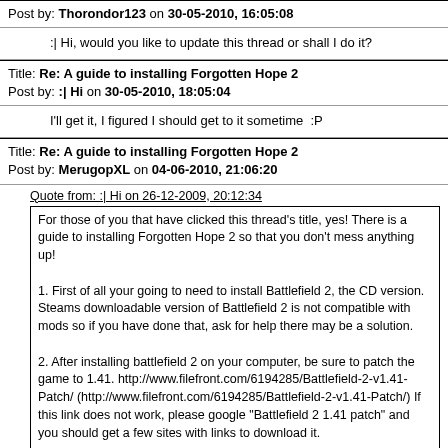Post by: Thorondor123 on 30-05-2010, 16:05:08
:| Hi, would you like to update this thread or shall I do it?
Title: Re: A guide to installing Forgotten Hope 2
Post by: :| Hi on 30-05-2010, 18:05:04
I'll get it, I figured I should get to it sometime  :P
Title: Re: A guide to installing Forgotten Hope 2
Post by: MerugopXL on 04-06-2010, 21:06:20
Quote from: :| Hi on 26-12-2009, 20:12:34
For those of you that have clicked this thread's title, yes! There is a guide to installing Forgotten Hope 2 so that you don't mess anything up!

1. First of all your going to need to install Battlefield 2, the CD version.  Steams downloadable version of Battlefield 2 is not compatible with mods so if you have done that, ask for help there may be a solution.

2. After installing battlefield 2 on your computer, be sure to patch the game to 1.41. http://www.filefront.com/6194285/Battlefield-2-v1.41-Patch/ (http://www.filefront.com/6194285/Battlefield-2-v1.41-Patch/) If this link does not work, please google "Battlefield 2 1.41 patch" and you should get a few sites with links to download it.

3. Now that you've installed patch 1.41, you need to download patch 1.50. Among correcting some bugs this patch allows you to play the game without needing your Battlefield 2 CD!  http://www.filefront.com/14444947/Battlefield-2-Patch-1.5/ (http://www.filefront.com/14444947/Battlefield-2-Patch-1.50/ This